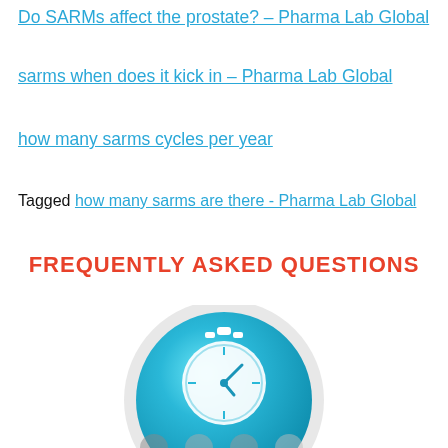Do SARMs affect the prostate? – Pharma Lab Global
sarms when does it kick in – Pharma Lab Global
how many sarms cycles per year
Tagged how many sarms are there - Pharma Lab Global
FREQUENTLY ASKED QUESTIONS
[Figure (illustration): A large aqua/cyan circular button icon featuring a white stopwatch/timer symbol in the center, with a lighter gray outer ring border. Below it, partially visible, are smaller circular icons.]